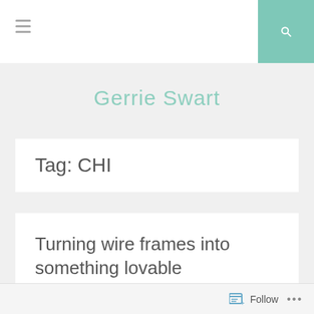≡  [search icon]
Gerrie Swart
Tag: CHI
Turning wire frames into something lovable
Follow  ...